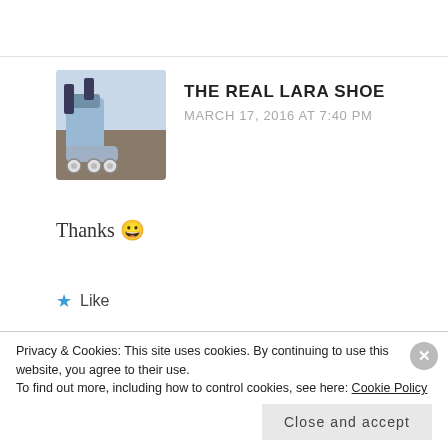[Figure (photo): Avatar photo of roller skates (blue skates on pavement) for user The Real Lara Shoe]
THE REAL LARA SHOE
MARCH 17, 2016 AT 7:40 PM
Thanks 😀
★ Like
Reply
[Figure (illustration): Tumblr banner with colorful sticker-style illustration and the Tumblr logo text in bold]
Privacy & Cookies: This site uses cookies. By continuing to use this website, you agree to their use.
To find out more, including how to control cookies, see here: Cookie Policy
Close and accept